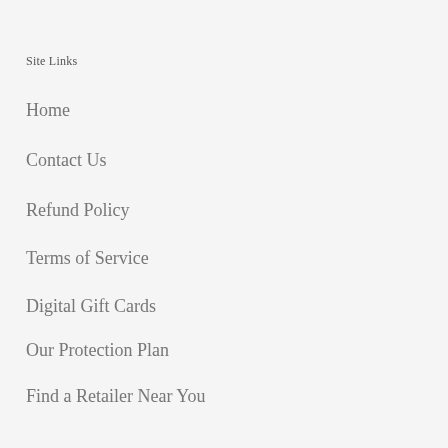Site Links
Home
Contact Us
Refund Policy
Terms of Service
Digital Gift Cards
Our Protection Plan
Find a Retailer Near You
[Figure (logo): Black circular logo icon]
Join Community
Subscribe to receive updates, access to exclusive deals, and